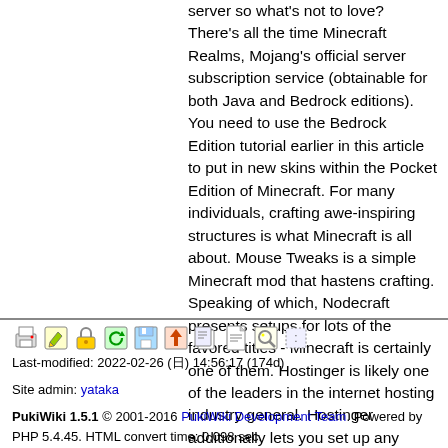server so what's not to love? There's all the time Minecraft Realms, Mojang's official server subscription service (obtainable for both Java and Bedrock editions). You need to use the Bedrock Edition tutorial earlier in this article to put in new skins within the Pocket Edition of Minecraft. For many individuals, crafting awe-inspiring structures is what Minecraft is all about. Mouse Tweaks is a simple Minecraft mod that hastens crafting. Speaking of which, Nodecraft presents setups for lots of the favored titles - Minecraft is certainly one of them. Hostinger is likely one of the leaders in the internet hosting industry general. Hostinger additionally lets you set up any modpack you want, they usually help customized JAR files as properly.</p>
Last-modified: 2022-02-26 (日) 14:56:17 (174d)
Site admin: yataka
PukiWiki 1.5.1 © 2001-2016 PukiWiki Development Team. Powered by PHP 5.4.45. HTML convert time: 0.098 sec.